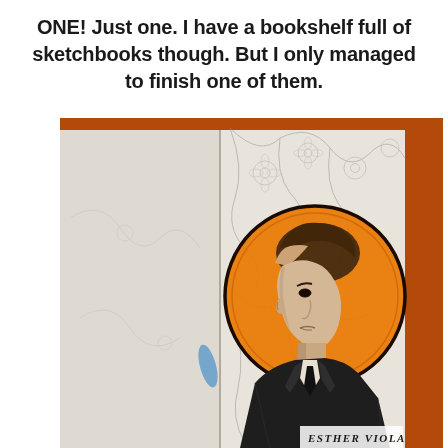ONE! Just one. I have a bookshelf full of sketchbooks though. But I only managed to finish one of them.
[Figure (illustration): A pencil and colored illustration in a sketchbook showing a man in profile view with short dark hair, wearing a suit and tie, surrounded by an orange/amber circular halo behind his head. The background has delicate floral/vine pencil drawings. The sketchbook has an orange cover visible on the right edge. In the bottom right corner is the text 'ESTHER VIOLA'.]